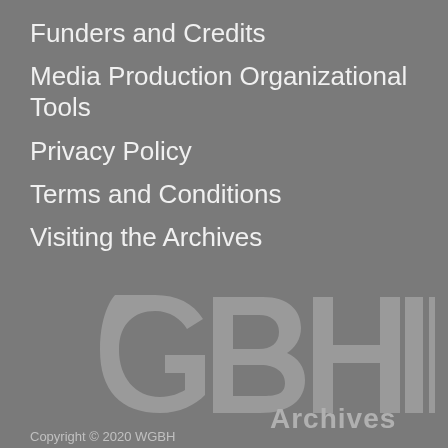Funders and Credits
Media Production Organizational Tools
Privacy Policy
Terms and Conditions
Visiting the Archives
[Figure (logo): GBH Archives logo — large stylized GBH letters with 'Archives' text to the right, all in light gray on gray background]
Copyright © 2020 WGBH